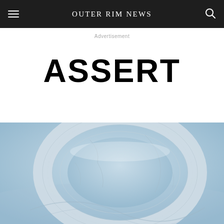Outer Rim News
Advertisement
ASSERT
[Figure (illustration): A sci-fi illustration of a large ring-shaped space station or structure against a pale blue sky background. The ring is white/light grey with architectural detail lines and cracks visible on the surface.]